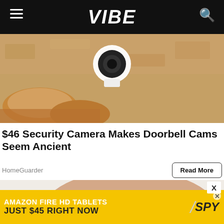VIBE
[Figure (photo): Close-up photo of a security camera mounted on a sandy/textured wall surface]
$46 Security Camera Makes Doorbell Cams Seem Ancient
HomeGuarder
Read More
[Figure (photo): Close-up photo showing a person's shoulder and arm against a light background]
[Figure (photo): Advertisement banner: AMAZON FIRE HD TABLETS JUST $45 RIGHT NOW / SPY]